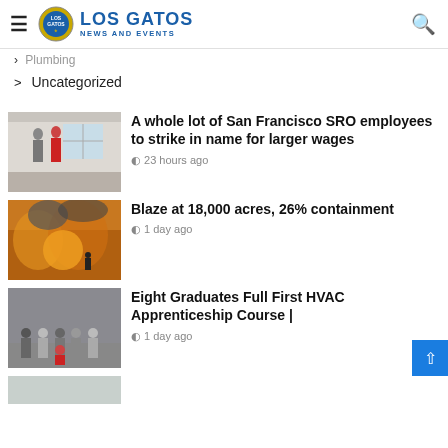Los Gatos NEWS AND EVENTS
Plumbing
Uncategorized
A whole lot of San Francisco SRO employees to strike in name for larger wages
23 hours ago
Blaze at 18,000 acres, 26% containment
1 day ago
Eight Graduates Full First HVAC Apprenticeship Course |
1 day ago